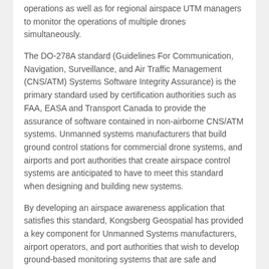operations as well as for regional airspace UTM managers to monitor the operations of multiple drones simultaneously.
The DO-278A standard (Guidelines For Communication, Navigation, Surveillance, and Air Traffic Management (CNS/ATM) Systems Software Integrity Assurance) is the primary standard used by certification authorities such as FAA, EASA and Transport Canada to provide the assurance of software contained in non-airborne CNS/ATM systems. Unmanned systems manufacturers that build ground control stations for commercial drone systems, and airports and port authorities that create airspace control systems are anticipated to have to meet this standard when designing and building new systems.
By developing an airspace awareness application that satisfies this standard, Kongsberg Geospatial has provided a key component for Unmanned Systems manufacturers, airport operators, and port authorities that wish to develop ground-based monitoring systems that are safe and certifiable for commercial operations.
“Unmanned Traffic Management and safe airspace operations will require certification of technology,” said Ranald McGillis, President of Kongsberg Geospatial. “We believe providing a